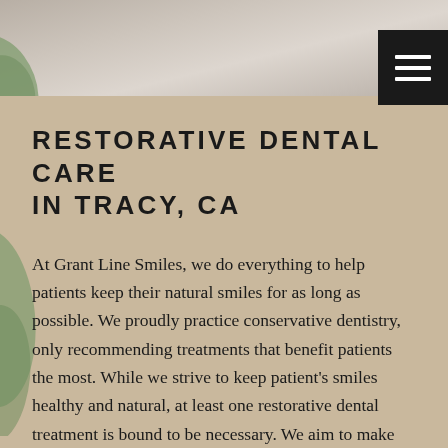[Figure (photo): Top portion showing a dental office or people, partially visible at top of page with green leaf/plant element on left side]
RESTORATIVE DENTAL CARE IN TRACY, CA
At Grant Line Smiles, we do everything to help patients keep their natural smiles for as long as possible. We proudly practice conservative dentistry, only recommending treatments that benefit patients the most. While we strive to keep patient's smiles healthy and natural, at least one restorative dental treatment is bound to be necessary. We aim to make